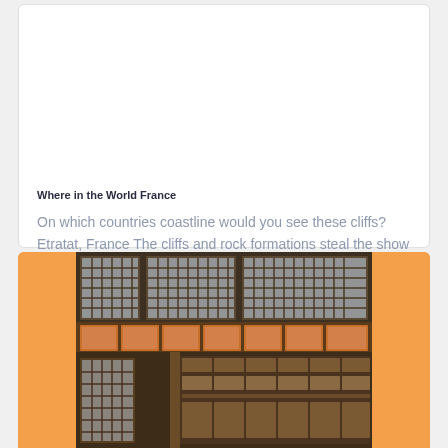Where in the World France
On which countries coastline would you see these cliffs? Etratat, France The cliffs and rock formations steal the show in Etretat, thanks to their …
[Figure (photo): Photograph of a historic medieval-style building facade with ornate timber framing, decorative carved panels with colorful heraldic motifs, and large latticed windows, set against an orange background card.]